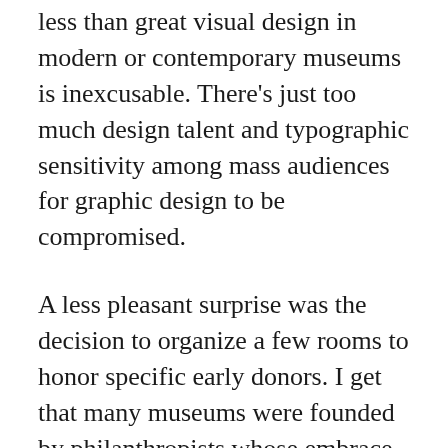less than great visual design in modern or contemporary museums is inexcusable. There's just too much design talent and typographic sensitivity among mass audiences for graphic design to be compromised.
A less pleasant surprise was the decision to organize a few rooms to honor specific early donors. I get that many museums were founded by philanthropists whose embrace of modern art should be acknowledged, still, when I consider the 20th century, I can't ignore that wealth and power was often